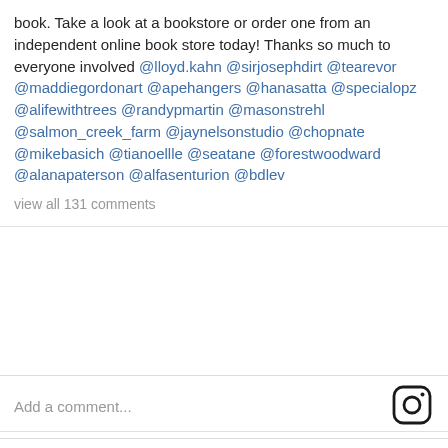book. Take a look at a bookstore or order one from an independent online book store today!  Thanks so much to everyone involved @lloyd.kahn @sirjosephdirt @tearevor @maddiegordonart @apehangers @hanasatta @specialopz @alifewithtrees @randypmartin @masonstrehl @salmon_creek_farm @jaynelsonstudio @chopnate @mikebasich @tianoellle @seatane @forestwoodward @alanapaterson @alfasenturion @bdlev
view all 131 comments
Add a comment...
[Figure (logo): Instagram camera logo icon]